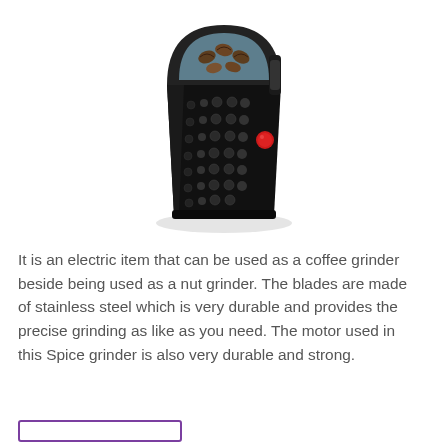[Figure (photo): A black electric coffee/spice grinder with a clear top lid showing coffee beans, textured body with dot pattern, red button on the side, and a shadow beneath it.]
It is an electric item that can be used as a coffee grinder beside being used as a nut grinder. The blades are made of stainless steel which is very durable and provides the precise grinding as like as you need. The motor used in this Spice grinder is also very durable and strong.